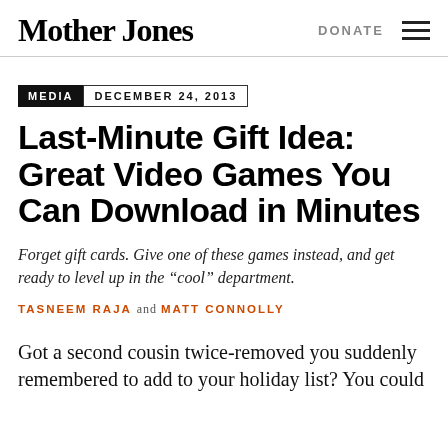Mother Jones | DONATE
MEDIA   DECEMBER 24, 2013
Last-Minute Gift Idea: Great Video Games You Can Download in Minutes
Forget gift cards. Give one of these games instead, and get ready to level up in the “cool” department.
TASNEEM RAJA and MATT CONNOLLY
Got a second cousin twice-removed you suddenly remembered to add to your holiday list? You could